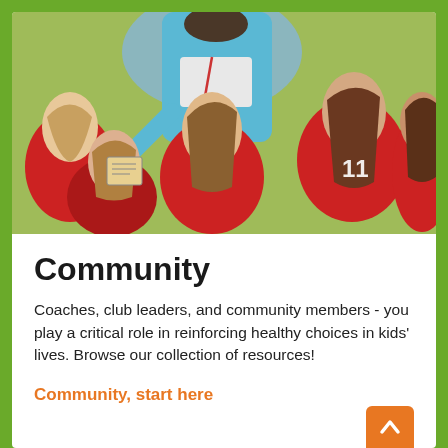[Figure (photo): A group of young girls in red sports uniforms huddled together with a coach in a light blue jacket pointing at something, viewed from behind outdoors on a field.]
Community
Coaches, club leaders, and community members - you play a critical role in reinforcing healthy choices in kids' lives. Browse our collection of resources!
Community, start here